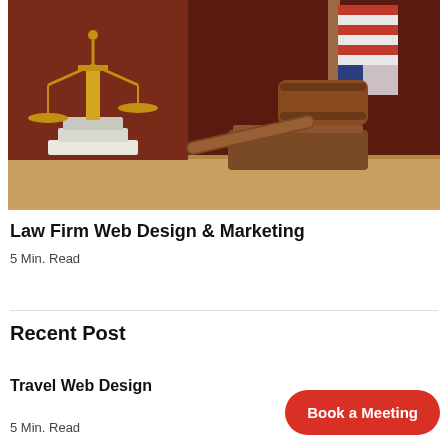[Figure (photo): Court scene photo featuring golden scales of justice on left and a wooden judge's gavel on its sounding block on right, with an American flag in the background, all on a wooden surface with a dark reddish-brown backdrop.]
Law Firm Web Design & Marketing
5 Min. Read
Recent Post
Travel Web Design
5 Min. Read